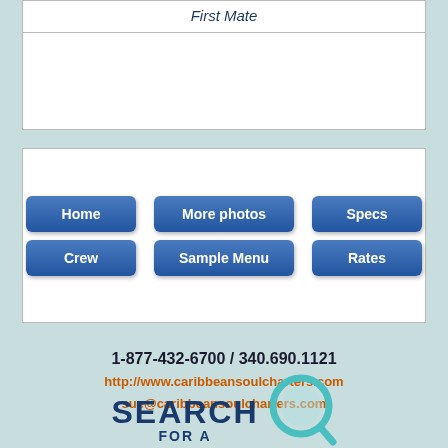First Mate
[Figure (screenshot): Navigation button grid with 6 blue buttons: Home, More photos, Specs, Crew, Sample Menu, Rates]
1-877-432-6700 / 340.690.1121
http://www.caribbeansoulcharters.com
sue@caribbeansoulcharters.com
[Figure (logo): SEARCH FOR A logo with teal magnifying glass icon]